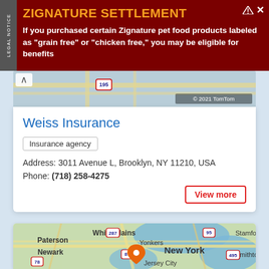[Figure (other): Legal notice advertisement banner for Zignature pet food settlement on dark red background with yellow title text and white body text]
[Figure (map): Map strip showing road map with © 2021 TomTom copyright notice and collapse arrow]
Weiss Insurance
Insurance agency
Address: 3011 Avenue L, Brooklyn, NY 11210, USA
Phone: (718) 258-4275
View more
[Figure (map): Street map centered on New York area showing Paterson, Newark, White Plains, Yonkers, Stamford, New York, Jersey City area with orange location pin marker, route shields for 287, 87, 95, 78, 495]